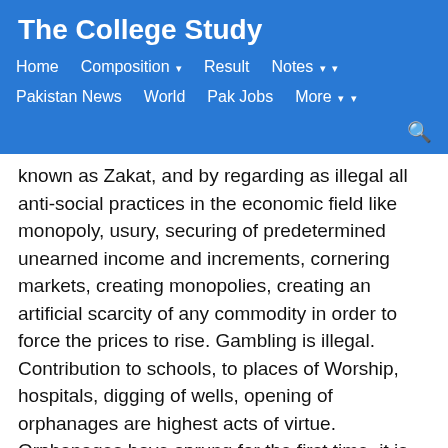The College Study
Home   Composition   Result   Notes   Pakistan News   World   Pak Jobs   More
known as Zakat, and by regarding as illegal all anti-social practices in the economic field like monopoly, usury, securing of predetermined unearned income and increments, cornering markets, creating monopolies, creating an artificial scarcity of any commodity in order to force the prices to rise. Gambling is illegal. Contribution to schools, to places of Worship, hospitals, digging of wells, opening of orphanages are highest acts of virtue. Orphanages have sprung for the first time, it is